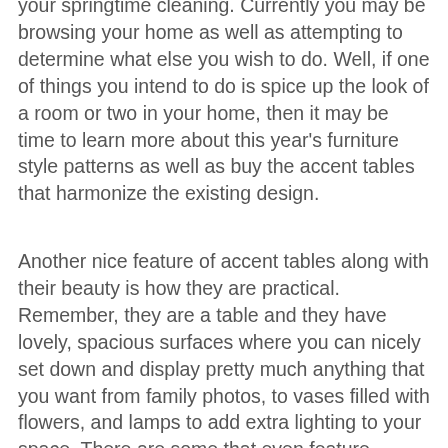your springtime cleaning. Currently you may be browsing your home as well as attempting to determine what else you wish to do. Well, if one of things you intend to do is spice up the look of a room or two in your home, then it may be time to learn more about this year's furniture style patterns as well as buy the accent tables that harmonize the existing design.
Another nice feature of accent tables along with their beauty is how they are practical. Remember, they are a table and they have lovely, spacious surfaces where you can nicely set down and display pretty much anything that you want from family photos, to vases filled with flowers, and lamps to add extra lighting to your space. There are some that even feature different storage options